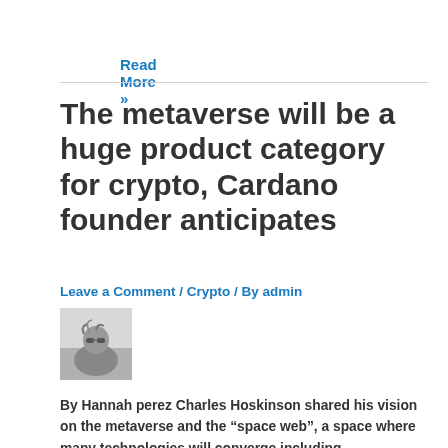Read More »
The metaverse will be a huge product category for crypto, Cardano founder anticipates
Leave a Comment / Crypto / By admin
[Figure (photo): Black and white photo of a person wearing sunglasses, author avatar image]
By Hannah perez Charles Hoskinson shared his vision on the metaverse and the “space web”, a space where many technologies will converge including cryptocurrencies,